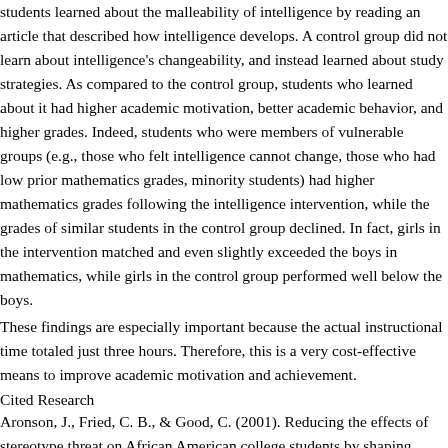students learned about the malleability of intelligence by reading an article that described how intelligence develops. A control group did not learn about intelligence's changeability, and instead learned about study strategies. As compared to the control group, students who learned about it had higher academic motivation, better academic behavior, and higher grades. Indeed, students who were members of vulnerable groups (e.g., those who felt intelligence cannot change, those who had low prior mathematics grades, minority students) had higher mathematics grades following the intelligence intervention, while the grades of similar students in the control group declined. In fact, girls in the intervention matched and even slightly exceeded the boys in mathematics, while girls in the control group performed well below the boys.
These findings are especially important because the actual instructional time totaled just three hours. Therefore, this is a very cost-effective means to improve academic motivation and achievement.
Cited Research
Aronson, J., Fried, C. B., & Good, C. (2001). Reducing the effects of stereotype threat on African American college students by shaping theories of intelligence. J